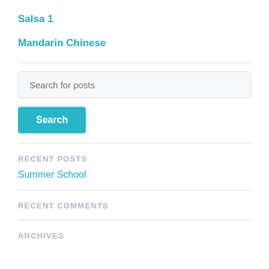Salsa 1
Mandarin Chinese
Search for posts
Search
RECENT POSTS
Summer School
RECENT COMMENTS
ARCHIVES